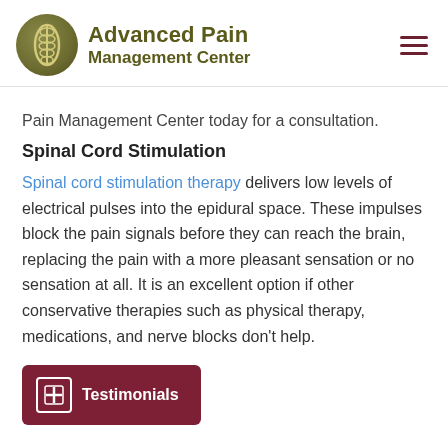Advanced Pain Management Center
Pain Management Center today for a consultation.
Spinal Cord Stimulation
Spinal cord stimulation therapy delivers low levels of electrical pulses into the epidural space. These impulses block the pain signals before they can reach the brain, replacing the pain with a more pleasant sensation or no sensation at all. It is an excellent option if other conservative therapies such as physical therapy, medications, and nerve blocks don't help.
[Figure (logo): Testimonials button with icon]
Testimonials